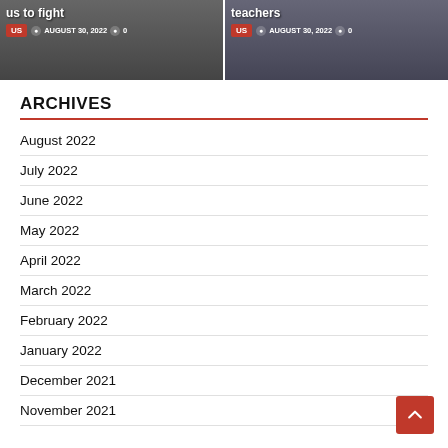[Figure (photo): Two side-by-side news article thumbnail images. Left image shows a person in a suit with overlay text 'us to fight', tag 'US', date 'AUGUST 30, 2022', comments '0'. Right image shows a similar person with overlay text 'teachers', tag 'US', date 'AUGUST 30, 2022', comments '0'.]
ARCHIVES
August 2022
July 2022
June 2022
May 2022
April 2022
March 2022
February 2022
January 2022
December 2021
November 2021